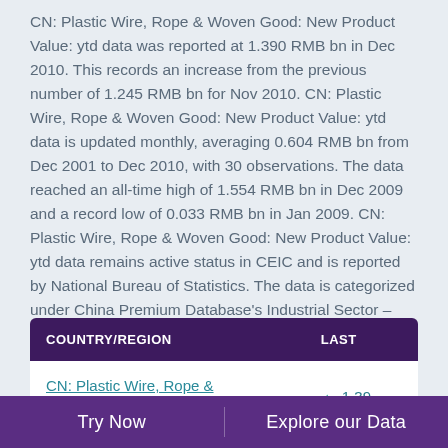CN: Plastic Wire, Rope & Woven Good: New Product Value: ytd data was reported at 1.390 RMB bn in Dec 2010. This records an increase from the previous number of 1.245 RMB bn for Nov 2010. CN: Plastic Wire, Rope & Woven Good: New Product Value: ytd data is updated monthly, averaging 0.604 RMB bn from Dec 2001 to Dec 2010, with 30 observations. The data reached an all-time high of 1.554 RMB bn in Dec 2009 and a record low of 0.033 RMB bn in Jan 2009. CN: Plastic Wire, Rope & Woven Good: New Product Value: ytd data remains active status in CEIC and is reported by National Bureau of Statistics. The data is categorized under China Premium Database's Industrial Sector – Table CN.BII: Plastic Product: Plastic Wire, Rope and Woven Good.
| COUNTRY/REGION | LAST |
| --- | --- |
| CN: Plastic Wire, Rope & Woven Good: New | ▲ 1.39 |
Try Now   Explore our Data